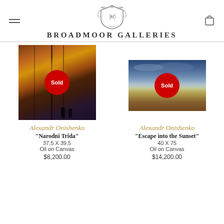Broadmoor Galleries
[Figure (photo): Oil painting: urban street scene with warm golden and brown tones, figures walking down a street between buildings. Red 'Sold' badge overlaid.]
[Figure (photo): Oil painting: landscape with blue cloudy sky over golden/brown fields. Red 'Sold' badge overlaid.]
Alexandr Onishenko
“Narodni Trida”
37.5 X 39.5
Oil on Canvas
$8,200.00
Alexandr Onishenko
“Escape into the Sunset”
40 X 75
Oil on Canvas
$14,200.00